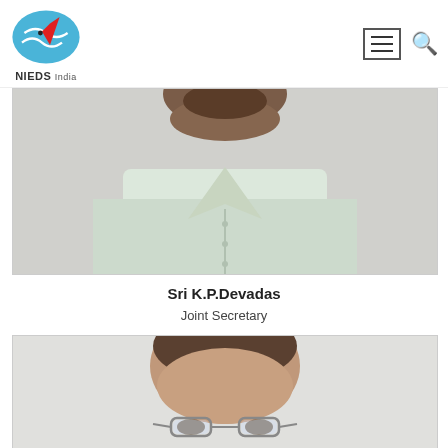NIEDS India — navigation header with logo, hamburger menu, and search icon
[Figure (photo): Cropped photo of Sri K.P.Devadas, showing neck and shoulders in a light shirt, face cut off at top]
Sri K.P.Devadas
Joint Secretary
[Figure (photo): Photo of second person, partially visible — forehead and glasses visible, cropped at bottom of page]